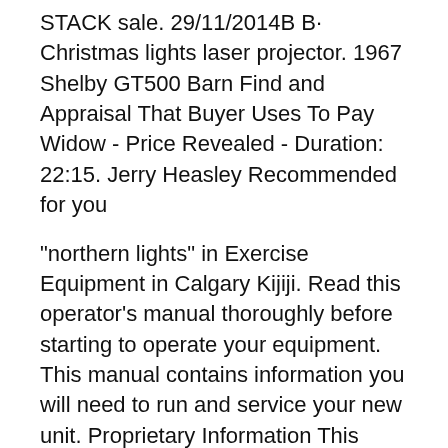STACK sale. 29/11/2014B B· Christmas lights laser projector. 1967 Shelby GT500 Barn Find and Appraisal That Buyer Uses To Pay Widow - Price Revealed - Duration: 22:15. Jerry Heasley Recommended for you
"northern lights" in Exercise Equipment in Calgary Kijiji. Read this operator's manual thoroughly before starting to operate your equipment. This manual contains information you will need to run and service your new unit. Proprietary Information This publication is the property of Northern Lights, Inc. It may not be reproduced in whole or in part without the written permission of Northern Lights, Inc. Northern Lights...